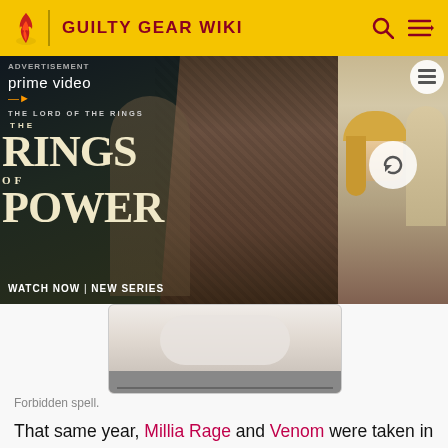GUILTY GEAR WIKI
[Figure (screenshot): Amazon Prime Video advertisement for The Lord of the Rings: The Rings of Power. Shows a hooded figure with weathered features on the left, and a group of people including a blonde woman on the right. Text reads: ADVERTISEMENT, prime video, THE LORD OF THE RINGS, THE RINGS OF POWER, WATCH NOW | NEW SERIES]
[Figure (photo): Partial view of an image showing a white curved shape, possibly a forbidden spell visual element, with a dark strip at the bottom.]
Forbidden spell.
That same year, Millia Rage and Venom were taken in by the guild.[16] To them, Zato was their savior and teacher;[18][19] Zato earned Venom's undying loyalty,[18] and eventually fell in love with Millia–the two becoming Zato's right and left hands, respectively.[19] As leader, Zato had the guild turn to money contracts,[11] but attempted